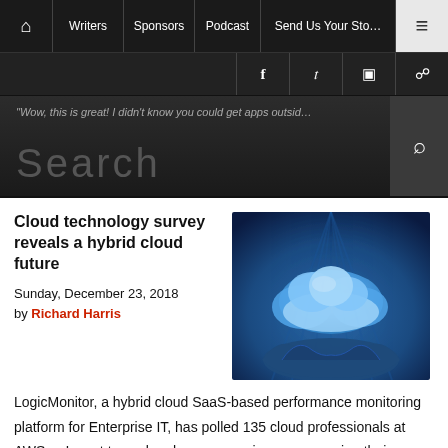Home | Writers | Sponsors | Podcast | Send Us Your Story | Menu
"Wow, this is great! I didn't know you could get apps outsid...
Search
Cloud technology survey reveals a hybrid cloud future
Sunday, December 23, 2018
by Richard Harris
[Figure (photo): Hands holding a glowing blue cloud icon against a dark blue background]
LogicMonitor, a hybrid cloud SaaS-based performance monitoring platform for Enterprise IT, has polled 135 cloud professionals at AWS re:Invent to explore how companies are managing their workloads in the data center and in the cloud. The survey shows more than half of